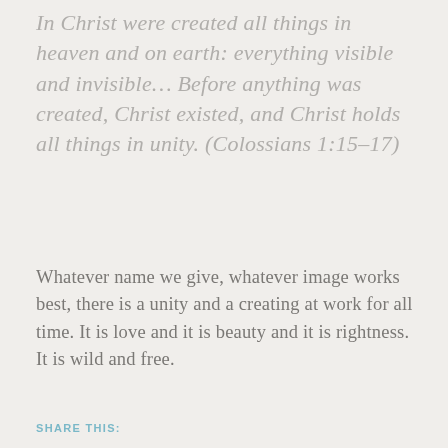In Christ were created all things in heaven and on earth: everything visible and invisible… Before anything was created, Christ existed, and Christ holds all things in unity. (Colossians 1:15–17)
Whatever name we give, whatever image works best, there is a unity and a creating at work for all time. It is love and it is beauty and it is rightness. It is wild and free.
SHARE THIS: